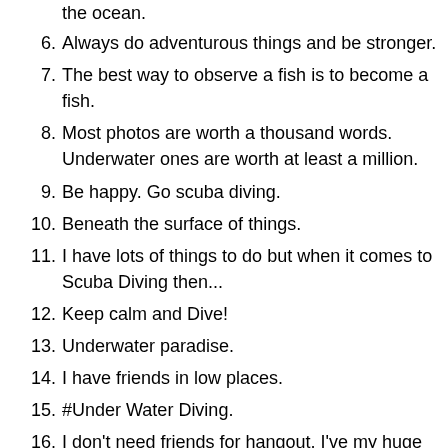the ocean.
6. Always do adventurous things and be stronger.
7. The best way to observe a fish is to become a fish.
8. Most photos are worth a thousand words. Underwater ones are worth at least a million.
9. Be happy. Go scuba diving.
10. Beneath the surface of things.
11. I have lots of things to do but when it comes to Scuba Diving then...
12. Keep calm and Dive!
13. Underwater paradise.
14. I have friends in low places.
15. #Under Water Diving.
16. I don't need friends for hangout, I've my huge group in the ocean.
17. This sport reminds me of Zindagi na Milegi Dobara!
18. Ask yourself what makes you scare and do that twice.
19. (partial, cut off)